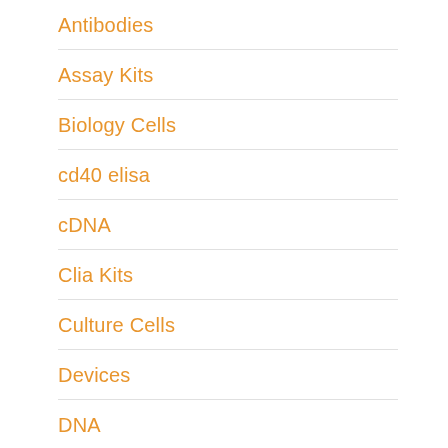Antibodies
Assay Kits
Biology Cells
cd40 elisa
cDNA
Clia Kits
Culture Cells
Devices
DNA
DNA Templates